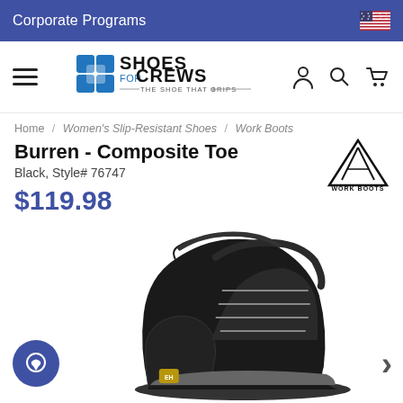Corporate Programs
[Figure (logo): Shoes For Crews logo with tagline 'THE SHOE THAT GRIPS']
Home / Women's Slip-Resistant Shoes / Work Boots
Burren - Composite Toe
Black, Style# 76747
$119.98
[Figure (logo): ACE Work Boots badge/logo]
[Figure (photo): Black composite toe work boot (Burren style 76747) displayed at an angle on white background]